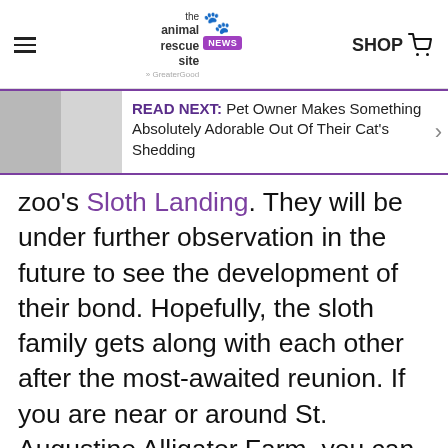the animal rescue site news | SHOP
[Figure (screenshot): READ NEXT banner with two animal photos and text: READ NEXT: Pet Owner Makes Something Absolutely Adorable Out Of Their Cat's Shedding]
zoo's Sloth Landing. They will be under further observation in the future to see the development of their bond. Hopefully, the sloth family gets along with each other after the most-awaited reunion. If you are near or around St. Augustine Alligator Farm, you can visit the family and other animals under their care.
Click the video below to witness the